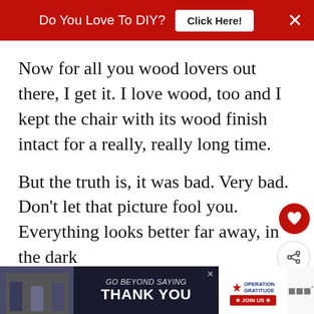Do You Love To DIY?  Click Here!
Now for all you wood lovers out there, I get it. I love wood, too and I kept the chair with its wood finish intact for a really, really long time.
But the truth is, it was bad. Very bad. Don't let that picture fool you. Everything looks better far away, in the dark, by a Christmas tree.
[Figure (screenshot): WHAT'S NEXT arrow label with Wooden Magazine text and circular dark image]
[Figure (screenshot): GO BEYOND SAYING THANK YOU - Operation Gratitude advertisement banner]